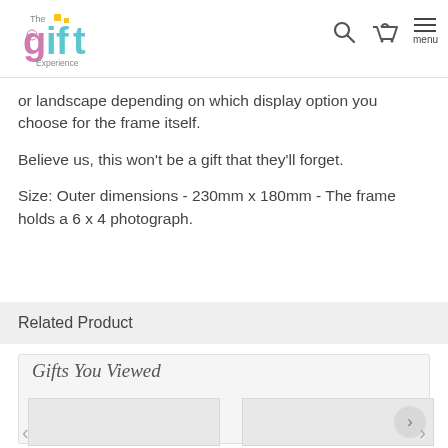[Figure (logo): The Gift Experience logo with colorful stylized text]
or landscape depending on which display option you choose for the frame itself.
Believe us, this won't be a gift that they'll forget.
Size: Outer dimensions - 230mm x 180mm - The frame holds a 6 x 4 photograph.
Related Product
Gifts You Viewed
[Figure (photo): Product image placeholder left]
[Figure (photo): Product image placeholder right]